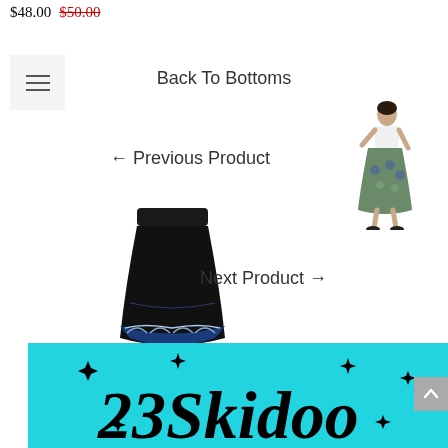$48.00  $50.00
≡
Back To Bottoms
← Previous Product
[Figure (photo): Woman wearing a blue/green floral skirt, white top, standing pose]
[Figure (photo): Black midi skirt with blue and white decorative border pattern at hem]
Next Product →
[Figure (illustration): Cyan/turquoise banner with '23 Skidoo' text in large black italic script font with sparkle star decorations]